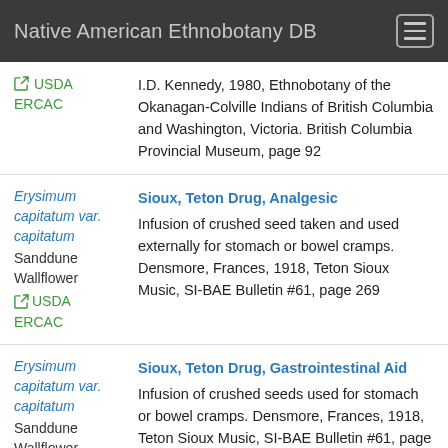Native American Ethnobotany DB
I.D. Kennedy, 1980, Ethnobotany of the Okanagan-Colville Indians of British Columbia and Washington, Victoria. British Columbia Provincial Museum, page 92 [USDA ERCAC]
Sioux, Teton Drug, Analgesic
Erysimum capitatum var. capitatum
Sanddune Wallflower
USDA ERCAC
Infusion of crushed seed taken and used externally for stomach or bowel cramps.
Densmore, Frances, 1918, Teton Sioux Music, SI-BAE Bulletin #61, page 269
Sioux, Teton Drug, Gastrointestinal Aid
Erysimum capitatum var. capitatum
Sanddune Wallflower
USDA ERCAC
Infusion of crushed seeds used for stomach or bowel cramps.
Densmore, Frances, 1918, Teton Sioux Music, SI-BAE Bulletin #61, page 269